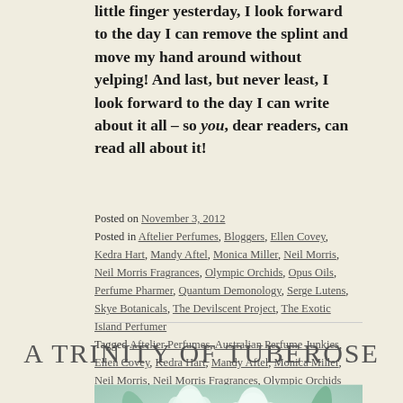little finger yesterday, I look forward to the day I can remove the splint and move my hand around without yelping! And last, but never least, I look forward to the day I can write about it all – so you, dear readers, can read all about it!
Posted on November 3, 2012
Posted in Aftelier Perfumes, Bloggers, Ellen Covey, Kedra Hart, Mandy Aftel, Monica Miller, Neil Morris, Neil Morris Fragrances, Olympic Orchids, Opus Oils, Perfume Pharmer, Quantum Demonology, Serge Lutens, Skye Botanicals, The Devilscent Project, The Exotic Island Perfumer
Tagged Aftelier Perfumes, Australian Perfume Junkies, Ellen Covey, Kedra Hart, Mandy Aftel, Monica Miller, Neil Morris, Neil Morris Fragrances, Olympic Orchids Perfumes, Opus Oils, Portia, Quantum Demonology, Serge Lutens, The Devilscent Project, The Perfume Pharmer, the Perfume Posse 14 Comments
A TRINITY OF TUBEROSE
[Figure (photo): Close-up photo of white tuberose flowers with soft green leaves, pastel tones]